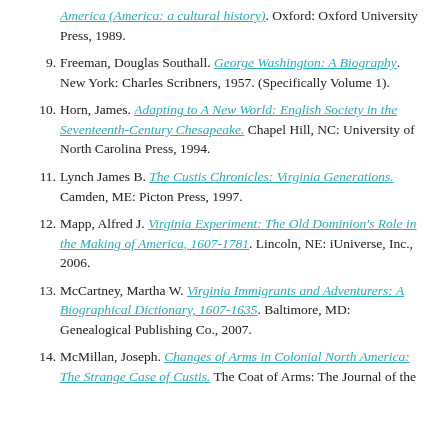(continuation) America (America: a cultural history). Oxford: Oxford University Press, 1989.
9. Freeman, Douglas Southall. George Washington: A Biography. New York: Charles Scribners, 1957. (Specifically Volume 1).
10. Horn, James. Adapting to A New World: English Society in the Seventeenth-Century Chesapeake. Chapel Hill, NC: University of North Carolina Press, 1994.
11. Lynch James B. The Custis Chronicles: Virginia Generations. Camden, ME: Picton Press, 1997.
12. Mapp, Alfred J. Virginia Experiment: The Old Dominion's Role in the Making of America, 1607-1781. Lincoln, NE: iUniverse, Inc., 2006.
13. McCartney, Martha W. Virginia Immigrants and Adventurers: A Biographical Dictionary, 1607-1635. Baltimore, MD: Genealogical Publishing Co., 2007.
14. McMillan, Joseph. Changes of Arms in Colonial North America: The Strange Case of Custis. The Coat of Arms: The Journal of the